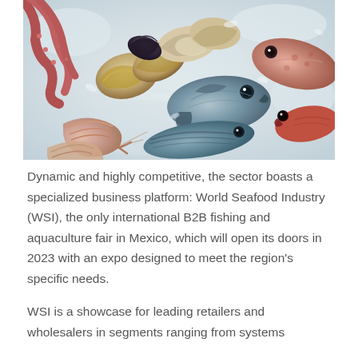[Figure (photo): Overhead photo of assorted fresh seafood on ice, including oysters, mussels, whole fish, shrimp/prawns, octopus tentacles, and other shellfish, arranged on crushed ice.]
Dynamic and highly competitive, the sector boasts a specialized business platform: World Seafood Industry (WSI), the only international B2B fishing and aquaculture fair in Mexico, which will open its doors in 2023 with an expo designed to meet the region's specific needs.
WSI is a showcase for leading retailers and wholesalers in segments ranging from systems